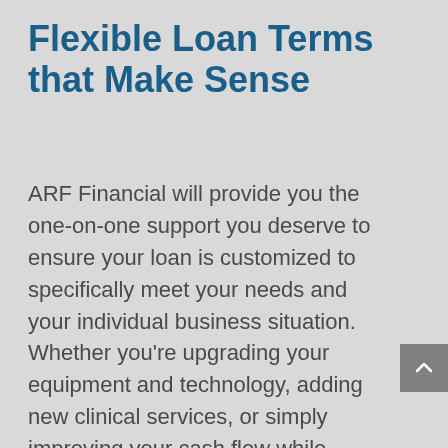Flexible Loan Terms that Make Sense
ARF Financial will provide you the one-on-one support you deserve to ensure your loan is customized to specifically meet your needs and your individual business situation.  Whether you're upgrading your equipment and technology, adding new clinical services, or simply improving your cash flow while waiting on historically slow insurance payments, ARF Financial is here to help.  We provide a complete range of loan options for dental professionals, ranging from $5,000 – $1 million in